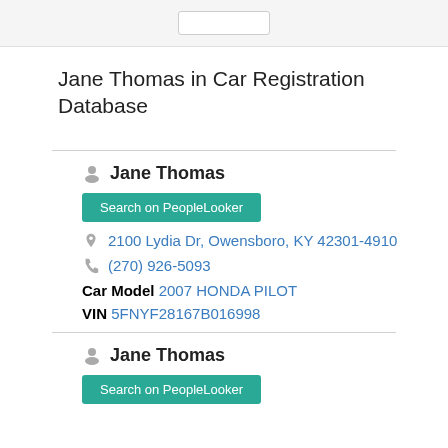Jane Thomas in Car Registration Database
Jane Thomas
Search on PeopleLooker
2100 Lydia Dr, Owensboro, KY 42301-4910
(270) 926-5093
Car Model 2007 HONDA PILOT
VIN 5FNYF28167B016998
Jane Thomas
Search on PeopleLooker